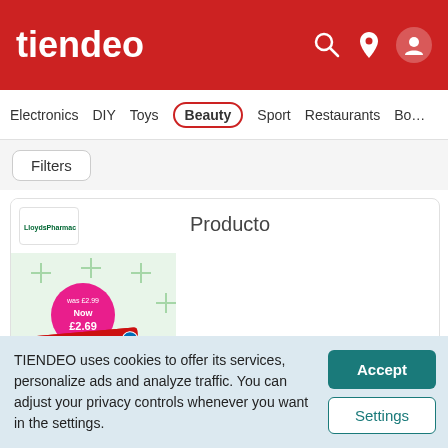tiendeo
Electronics  DIY  Toys  Beauty  Sport  Restaurants  Bo…
Filters
Producto
10 days left
TIENDEO uses cookies to offer its services, personalize ads and analyze traffic. You can adjust your privacy controls whenever you want in the settings.